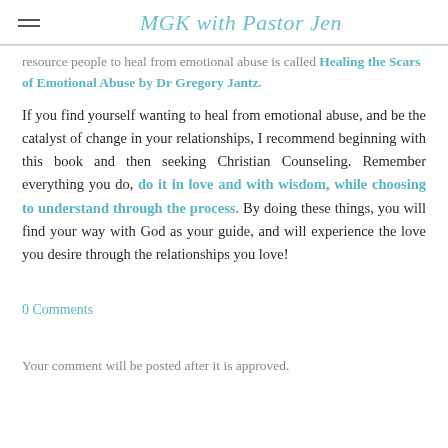MGK with Pastor Jen
resource people to heal from emotional abuse is called Healing the Scars of Emotional Abuse by Dr Gregory Jantz.
If you find yourself wanting to heal from emotional abuse, and be the catalyst of change in your relationships, I recommend beginning with this book and then seeking Christian Counseling. Remember everything you do, do it in love and with wisdom, while choosing to understand through the process. By doing these things, you will find your way with God as your guide, and will experience the love you desire through the relationships you love!
0 Comments
Your comment will be posted after it is approved.